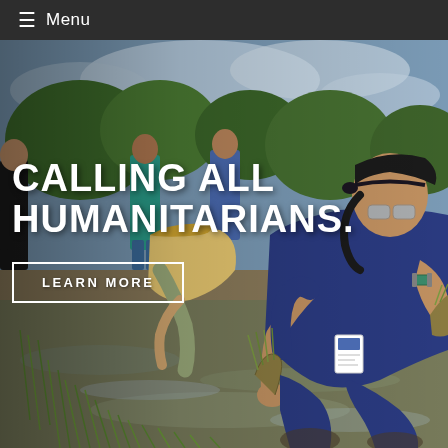≡ Menu
[Figure (photo): People planting rice seedlings in a flooded paddy field. In the foreground, a woman in a blue shirt and bandana headband kneels in muddy water holding bundles of rice shoots. Other volunteers stand in the background near green trees and cloudy sky.]
CALLING ALL HUMANITARIANS.
LEARN MORE